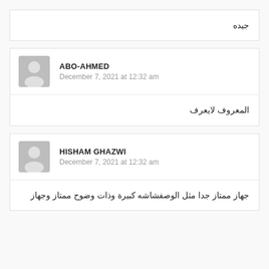جيده
ABO-AHMED
December 7, 2021 at 12:32 am
المعروف لايعرف
HISHAM GHAZWI
December 7, 2021 at 12:32 am
جهاز ممتاز جدا مثل الوصفشاشه كبيرة وذات وضوح ممتاز وجهاز